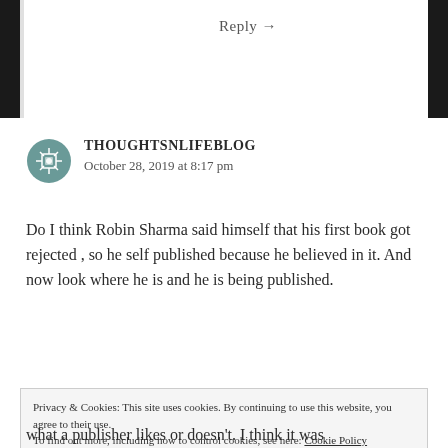Reply →
THOUGHTSNLIFEBLOG
October 28, 2019 at 8:17 pm
Do I think Robin Sharma said himself that his first book got rejected , so he self published because he believed in it. And now look where he is and he is being published.
Privacy & Cookies: This site uses cookies. By continuing to use this website, you agree to their use.
To find out more, including how to control cookies, see here: Cookie Policy
Close and accept
what a publisher likes or doesn't. I think it was